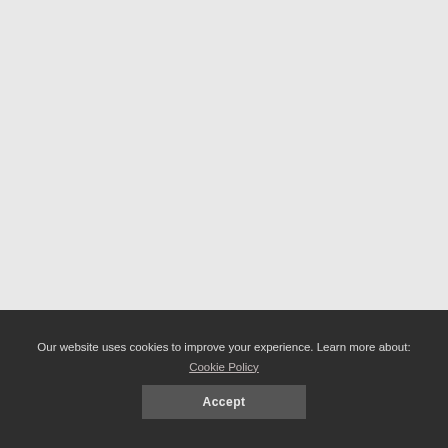[Figure (other): Light grey empty background area filling the upper portion of the page]
Our website uses cookies to improve your experience. Learn more about: Cookie Policy
Accept